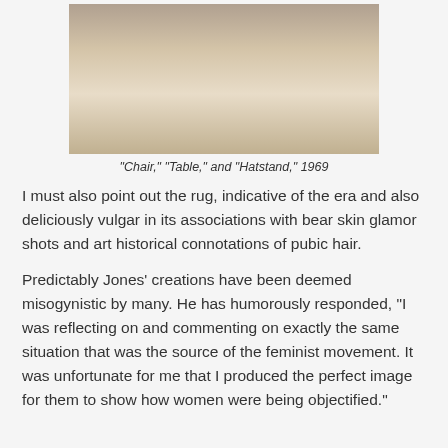[Figure (photo): Photograph showing figures posed as furniture pieces — one person on all fours supporting a glass table top, another reclining — on a shaggy fur rug in an art installation setting.]
“Chair,” “Table,” and “Hatstand,” 1969
I must also point out the rug, indicative of the era and also deliciously vulgar in its associations with bear skin glamor shots and art historical connotations of pubic hair.
Predictably Jones’ creations have been deemed misogynistic by many. He has humorously responded, “I was reflecting on and commenting on exactly the same situation that was the source of the feminist movement. It was unfortunate for me that I produced the perfect image for them to show how women were being objectified.”